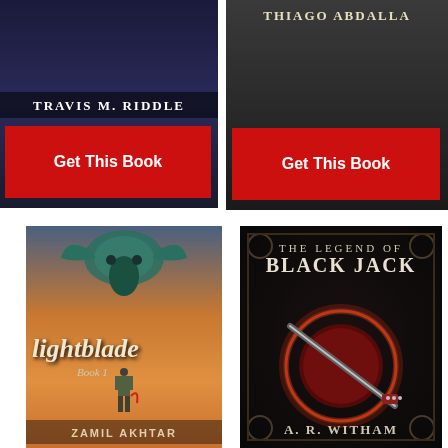[Figure (illustration): Book cover showing sci-fi scene with text 'TRAVIS M. RIDDLE' and a red 'Get This Book' button overlay]
[Figure (illustration): Book cover showing dark scene with text 'THIAGO ABDALLA' and a red 'Get This Book' button overlay]
[Figure (illustration): Book cover for 'lightblade Book 1' by ZAMIL AKHTAR featuring a dragon and warrior in orange clouds]
[Figure (illustration): Book cover for 'THE LEGEND OF BLACK JACK' by A. R. WITHAM featuring a glowing orb with a blade on dark ornate background]